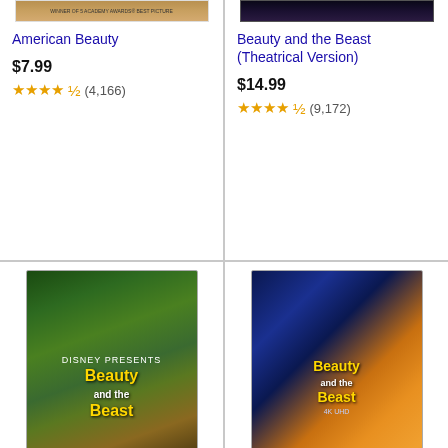[Figure (photo): Partial movie poster for American Beauty with Academy Award banner at top]
American Beauty
$7.99
★★★★½ (4,166)
[Figure (photo): Partial movie poster for Beauty and the Beast (Theatrical Version) with dark background]
Beauty and the Beast (Theatrical Version)
$14.99
★★★★½ (9,172)
[Figure (photo): Movie poster for Beauty And The Beast live-action with forest/castle background]
Beauty And The Beast
★★★★½ (1,110)
[Figure (photo): Movie poster for Beauty and the Beast 4K UHD animated version with Belle in yellow dress]
Beauty and the Beast (4K UHD)
$19.99
★★★★★ (1,876)
Ads by Amazon
Culture